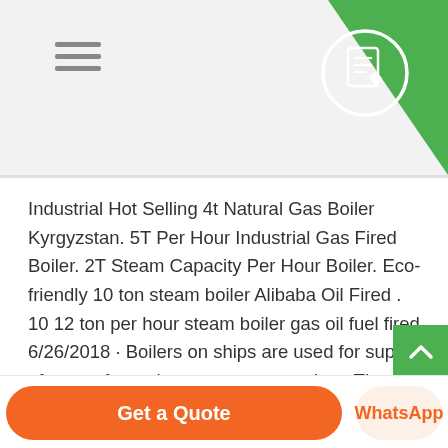Navigation header with hamburger menu and document icon
Industrial Hot Selling 4t Natural Gas Boiler Kyrgyzstan. 5T Per Hour Industrial Gas Fired Boiler. 2T Steam Capacity Per Hour Boiler. Eco-friendly 10 ton steam boiler Alibaba Oil Fired . 10 12 ton per hour steam boiler gas oil fuel fired 6/26/2018 · Boilers on ships are used for supply of steam for various processes such as The Aalborg 3-Pass Mini boiler is a gas, LFO or dual fuel
Learn More
Get a Quote | WhatsApp